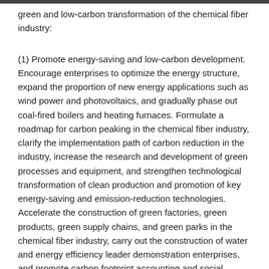green and low-carbon transformation of the chemical fiber industry:
(1) Promote energy-saving and low-carbon development. Encourage enterprises to optimize the energy structure, expand the proportion of new energy applications such as wind power and photovoltaics, and gradually phase out coal-fired boilers and heating furnaces. Formulate a roadmap for carbon peaking in the chemical fiber industry, clarify the implementation path of carbon reduction in the industry, increase the research and development of green processes and equipment, and strengthen technological transformation of clean production and promotion of key energy-saving and emission-reduction technologies. Accelerate the construction of green factories, green products, green supply chains, and green parks in the chemical fiber industry, carry out the construction of water and energy efficiency leader demonstration enterprises, and promote carbon footprint accounting and social responsibility construction.